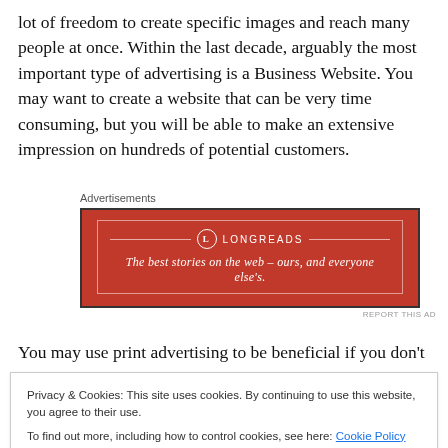lot of freedom to create specific images and reach many people at once. Within the last decade, arguably the most important type of advertising is a Business Website. You may want to create a website that can be very time consuming, but you will be able to make an extensive impression on hundreds of potential customers.
[Figure (other): Longreads advertisement banner: red background with white border, Longreads logo and tagline 'The best stories on the web – ours, and everyone else's.']
You may use print advertising to be beneficial if you don't
Privacy & Cookies: This site uses cookies. By continuing to use this website, you agree to their use.
To find out more, including how to control cookies, see here: Cookie Policy